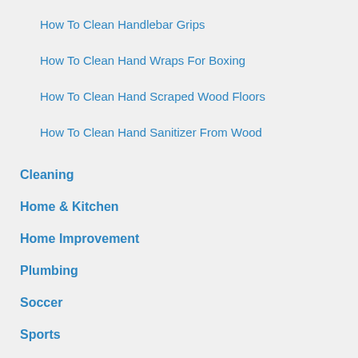How To Clean Handlebar Grips
How To Clean Hand Wraps For Boxing
How To Clean Hand Scraped Wood Floors
How To Clean Hand Sanitizer From Wood
Cleaning
Home & Kitchen
Home Improvement
Plumbing
Soccer
Sports
Swimming Pool & Hot Tub
Woodworking